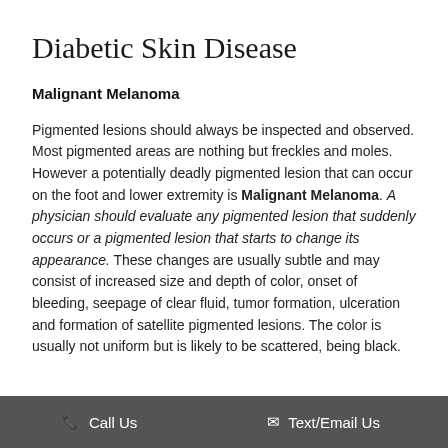Diabetic Skin Disease
Malignant Melanoma
Pigmented lesions should always be inspected and observed. Most pigmented areas are nothing but freckles and moles. However a potentially deadly pigmented lesion that can occur on the foot and lower extremity is Malignant Melanoma. A physician should evaluate any pigmented lesion that suddenly occurs or a pigmented lesion that starts to change its appearance. These changes are usually subtle and may consist of increased size and depth of color, onset of bleeding, seepage of clear fluid, tumor formation, ulceration and formation of satellite pigmented lesions. The color is usually not uniform but is likely to be scattered, being black.